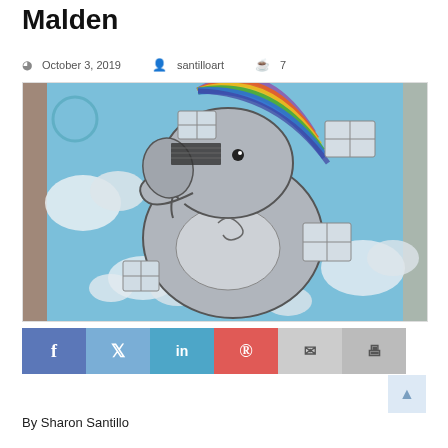Malden
October 3, 2019   santilloart   7
[Figure (photo): Outdoor wall mural on a building in Malden depicting a large grey elephant surrounded by white clouds against a blue sky, with a rainbow and scissors motif at the top. The building's windows are visible through the mural.]
Social sharing buttons: Facebook, Twitter, LinkedIn, Pinterest, Email, Print
By Sharon Santillo